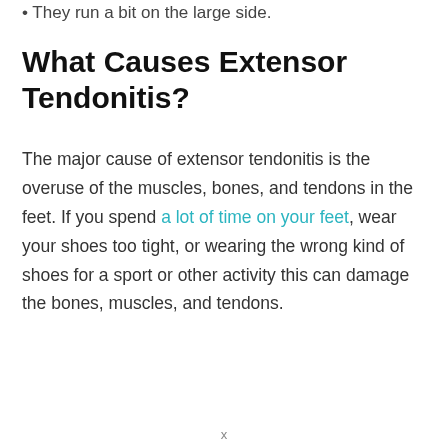They run a bit on the large side.
What Causes Extensor Tendonitis?
The major cause of extensor tendonitis is the overuse of the muscles, bones, and tendons in the feet. If you spend a lot of time on your feet, wear your shoes too tight, or wearing the wrong kind of shoes for a sport or other activity this can damage the bones, muscles, and tendons.
x